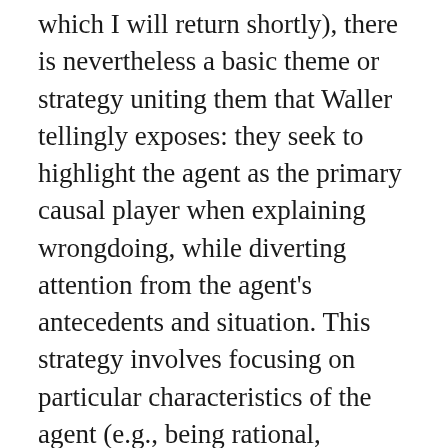which I will return shortly), there is nevertheless a basic theme or strategy uniting them that Waller tellingly exposes: they seek to highlight the agent as the primary causal player when explaining wrongdoing, while diverting attention from the agent's antecedents and situation. This strategy involves focusing on particular characteristics of the agent (e.g., being rational, reasons-responsive, sane, and uncoerced), while downplaying her causal history and the influence of the situation and systems of which she is inevitably a part. This selective emphasis –